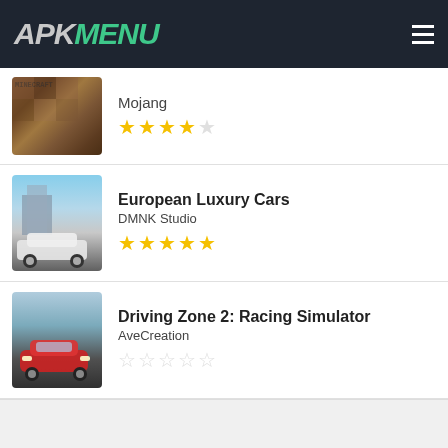APK MENU
Mojang — 4.5 stars
European Luxury Cars — DMNK Studio — 5 stars
Driving Zone 2: Racing Simulator — AveCreation — 0 stars
Apk Menu © 2021 - All Rights Reserved. apk download | Home - About Us - Terms Of Use - DMCA - Cookie Policy